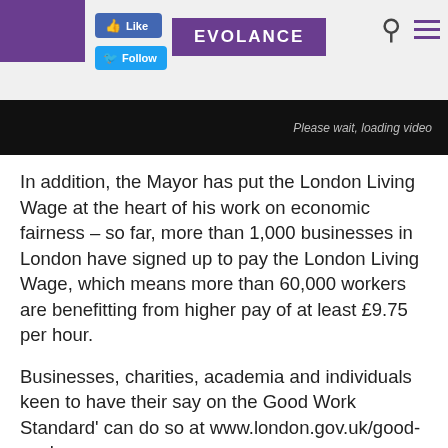[Figure (screenshot): Website header showing a purple block in the top left, a Facebook Like button, a Twitter Follow button, the EVOLANCE logo in a purple rectangle, a search icon, and a hamburger menu icon on a light grey background.]
[Figure (screenshot): Dark video player bar with text 'Please wait, loading video' on the right side.]
In addition, the Mayor has put the London Living Wage at the heart of his work on economic fairness – so far, more than 1,000 businesses in London have signed up to pay the London Living Wage, which means more than 60,000 workers are benefitting from higher pay of at least £9.75 per hour.
Businesses, charities, academia and individuals keen to have their say on the Good Work Standard' can do so at www.london.gov.uk/good-work